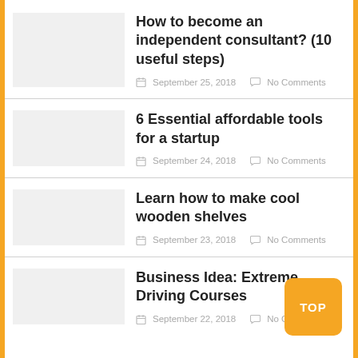How to become an independent consultant? (10 useful steps)
September 25, 2018   No Comments
6 Essential affordable tools for a startup
September 24, 2018   No Comments
Learn how to make cool wooden shelves
September 23, 2018   No Comments
Business Idea: Extreme Driving Courses
September 22, 2018   No Comments